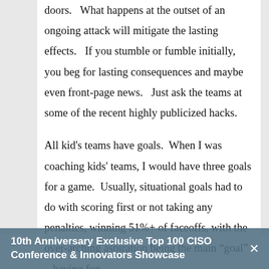doors.   What happens at the outset of an ongoing attack will mitigate the lasting effects.   If you stumble or fumble initially, you beg for lasting consequences and maybe even front-page news.   Just ask the teams at some of the recent highly publicized hacks.
All kid's teams have goals.  When I was coaching kids' teams, I would have three goals for a game.  Usually, situational goals had to do with scoring first or not taking any penalties, winning 51%+ of faceoffs, with the over-arching aspiration being the main “goal” – having fun.
Every CISO goal should be to StayHackFree – remember, it is
10th Anniversary Exclusive Top 100 CISO Conference & Innovators Showcase